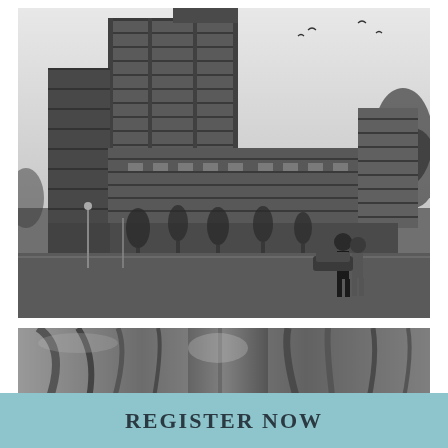[Figure (photo): Black and white architectural rendering of a modern high-rise condominium building with multiple balconies, a lower podium wing extending to the right, street-level retail with trees, two people in the foreground, and birds in the sky.]
[Figure (photo): Close-up cropped black and white photo showing two people from the waist down, blurred background.]
REGISTER NOW